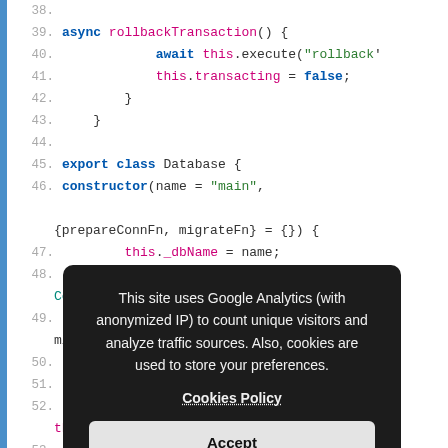[Figure (screenshot): Code editor screenshot showing TypeScript/JavaScript class code with line numbers 38-57. A cookie consent dialog overlay appears in the lower-center portion of the image reading: 'This site uses Google Analytics (with anonymized IP) to count unique visitors and analyze traffic sources. Also, cookies are used to store your preferences. Cookies Policy [Accept button]']